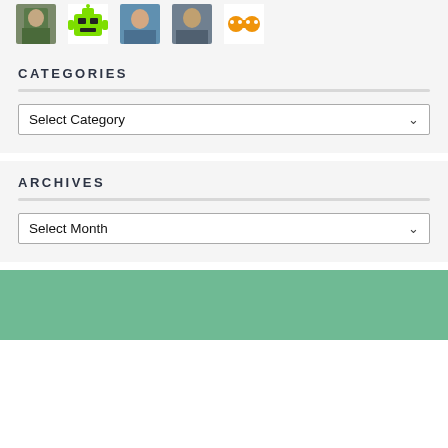[Figure (illustration): Row of user avatars/profile pictures including photos, a green robot icon, and an orange icon at top of page]
CATEGORIES
[Figure (other): Select Category dropdown]
ARCHIVES
[Figure (other): Select Month dropdown]
[Figure (illustration): Green banner image at bottom]